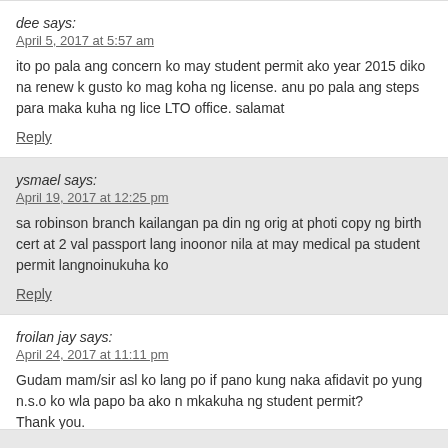dee says:
April 5, 2017 at 5:57 am
ito po pala ang concern ko may student permit ako year 2015 diko na renew k gusto ko mag koha ng license. anu po pala ang steps para maka kuha ng lice LTO office. salamat
Reply
ysmael says:
April 19, 2017 at 12:25 pm
sa robinson branch kailangan pa din ng orig at photi copy ng birth cert at 2 val passport lang inoonor nila at may medical pa student permit langnoinukuha ko
Reply
froilan jay says:
April 24, 2017 at 11:11 pm
Gudam mam/sir asl ko lang po if pano kung naka afidavit po yung n.s.o ko wla papo ba ako n mkakuha ng student permit?
Thank you.
Hope youre emmidiately response
Reply